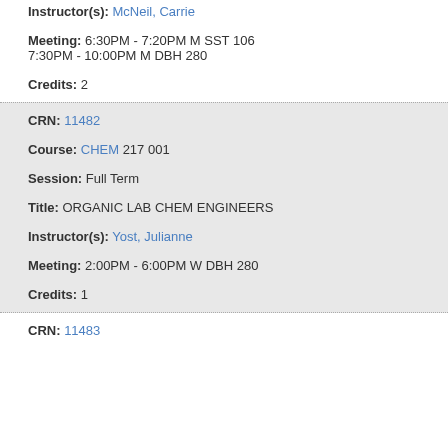Instructor(s): McNeil, Carrie
Meeting: 6:30PM - 7:20PM M SST 106
7:30PM - 10:00PM M DBH 280
Credits: 2
CRN: 11482
Course: CHEM 217 001
Session: Full Term
Title: ORGANIC LAB CHEM ENGINEERS
Instructor(s): Yost, Julianne
Meeting: 2:00PM - 6:00PM W DBH 280
Credits: 1
CRN: 11483